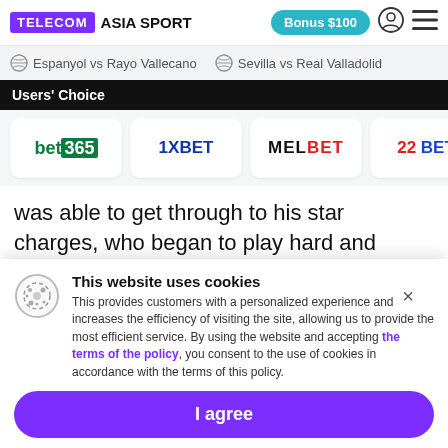TELECOM ASIA SPORT | Bonus $100
Espanyol vs Rayo Vallecano   Sevilla vs Real Valladolid
Users' Choice
[Figure (logo): Bookmaker logos row: bet365, 1XBET, MELBET, 22BET]
was able to get through to his star charges, who began to play hard and responsibly, which is why they now occupy a high second place in the standings.
[Figure (photo): Partial sports photo with blue/light gradient background]
This website uses cookies
This provides customers with a personalized experience and increases the efficiency of visiting the site, allowing us to provide the most efficient service. By using the website and accepting the terms of the policy, you consent to the use of cookies in accordance with the terms of this policy.
I agree